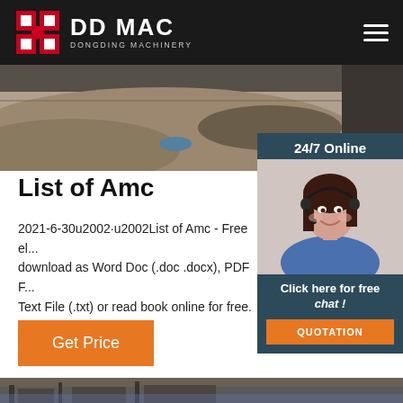DDMAC DONGDING MACHINERY
[Figure (photo): Aerial or landscape photo of a mining or quarry site with sandy/rocky terrain]
List of Amc
2021-6-30u2002·u2002List of Amc - Free el... download as Word Doc (.doc .docx), PDF F... Text File (.txt) or read book online for free. L... MAC
[Figure (photo): 24/7 Online customer service widget with photo of a woman with headset smiling, and a 'Click here for free chat!' button and orange QUOTATION button]
[Figure (photo): Bottom strip showing industrial or construction site photo]